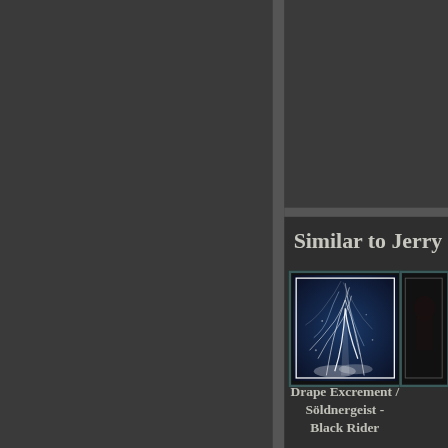Similar to Jerry H
[Figure (photo): Dark blue abstract water/ice splash artwork image with white swirling water forms against a dark blue background, framed with a white inner border]
Drape Excrement / Söldnergeist - Black Rider
[Figure (photo): Partial dark image visible at right edge, dark tones]
[Figure (photo): Brown/olive toned artwork image partially visible, appears to show a dark figure or form]